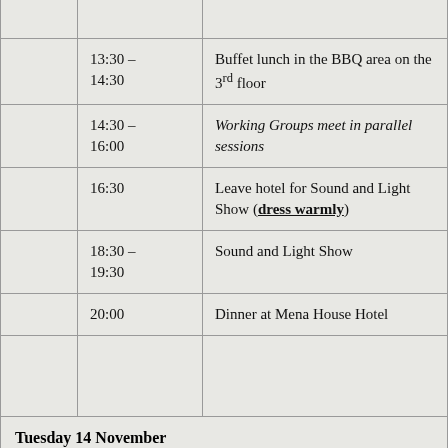|  | 13:30 – 14:30 | Buffet lunch in the BBQ area on the 3rd floor |
|  | 14:30 – 16:00 | Working Groups meet in parallel sessions |
|  | 16:30 | Leave hotel for Sound and Light Show (dress warmly) |
|  | 18:30 – 19:30 | Sound and Light Show |
|  | 20:00 | Dinner at Mena House Hotel |
|  |  |  |
| Tuesday 14 November |  |  |
|  |  |  |